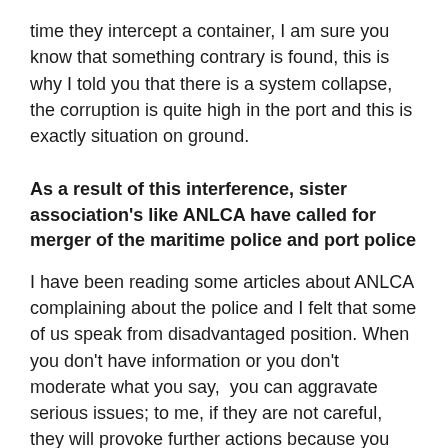time they intercept a container, I am sure you know that something contrary is found, this is why I told you that there is a system collapse,  the corruption is quite high in the port and this is exactly situation on ground.
As a result of this interference, sister association's like ANLCA have called for merger of the maritime police and port police
I have been reading some articles about ANLCA complaining about the police and I felt that some of us speak from disadvantaged position. When you don't have information or you don't moderate what you say,  you can aggravate serious issues; to me, if they are not careful, they will provoke further actions because you don't go to equity without having a clean hand, if the police have